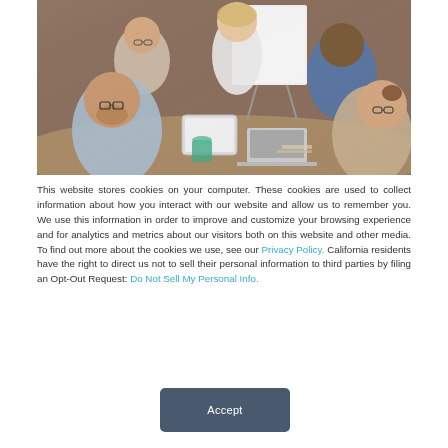[Figure (photo): A group of five business professionals sitting around a table in an office meeting, with a whiteboard in the background. They appear to be engaged in a discussion, with one person holding a tablet.]
This website stores cookies on your computer. These cookies are used to collect information about how you interact with our website and allow us to remember you. We use this information in order to improve and customize your browsing experience and for analytics and metrics about our visitors both on this website and other media. To find out more about the cookies we use, see our Privacy Policy. California residents have the right to direct us not to sell their personal information to third parties by filing an Opt-Out Request: Do Not Sell My Personal Info.
Accept